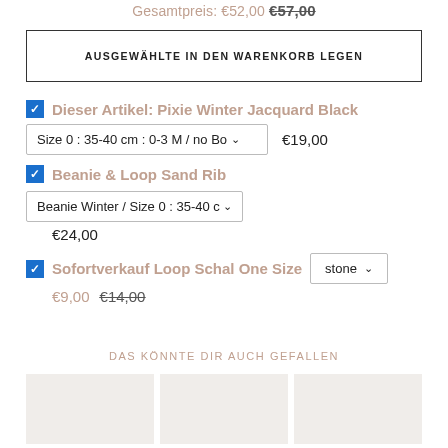Gesamtpreis: €52,00 €57,00
AUSGEWÄHLTE IN DEN WARENKORB LEGEN
Dieser Artikel: Pixie Winter Jacquard Black
Size 0 : 35-40 cm : 0-3 M / no Bo ∨  €19,00
Beanie & Loop Sand Rib  Beanie Winter / Size 0 : 35-40 c ∨  €24,00
Sofortverkauf Loop Schal One Size  stone ∨  €9,00  €14,00
DAS KÖNNTE DIR AUCH GEFALLEN